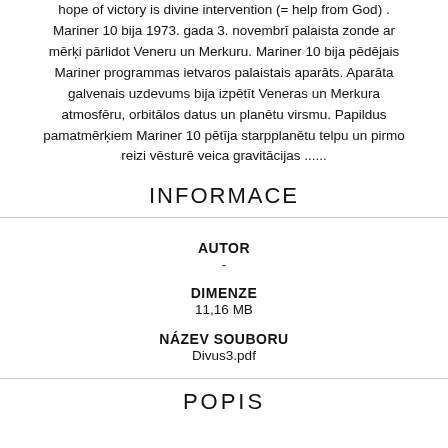hope of victory is divine intervention (= help from God). Mariner 10 bija 1973. gada 3. novembrī palaista zonde ar mērķi pārlidot Veneru un Merkuru. Mariner 10 bija pēdējais Mariner programmas ietvaros palaistais aparāts. Aparāta galvenais uzdevums bija izpētīt Veneras un Merkura atmosfēru, orbitālos datus un planētu virsmu. Papildus pamatmērķiem Mariner 10 pētīja starpplanētu telpu un pirmo reizi vēsturē veica gravitācijas ......
INFORMACE
| Field | Value |
| --- | --- |
| AUTOR | - |
| DIMENZE | 11,16 MB |
| NÁZEV SOUBORU | Divus3.pdf |
POPIS